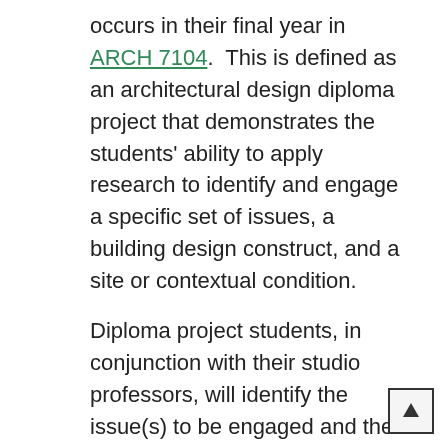occurs in their final year in ARCH 7104.  This is defined as an architectural design diploma project that demonstrates the students' ability to apply research to identify and engage a specific set of issues, a building design construct, and a site or contextual condition.
Diploma project students, in conjunction with their studio professors, will identify the issue(s) to be engaged and the research and/or design methods through which this engagement will take place. Design research is defined as an architectural project that engages and explicates primary source material leading to project work possessing an original argument.  This diploma project includes design-related materials as part of the final submission.  Materials from data and information gathered from original texts and documents, data resulting from experiments, demographic data, interviews, etc. are the means to base and launch the design activities of the diploma